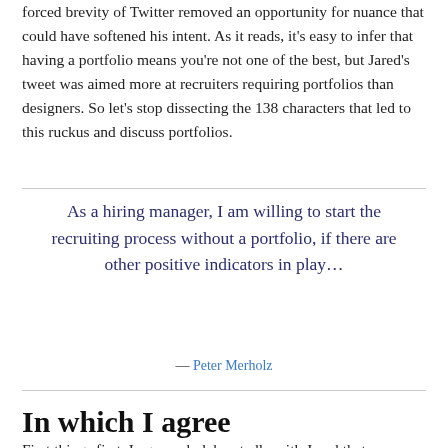forced brevity of Twitter removed an opportunity for nuance that could have softened his intent. As it reads, it's easy to infer that having a portfolio means you're not one of the best, but Jared's tweet was aimed more at recruiters requiring portfolios than designers. So let's stop dissecting the 138 characters that led to this ruckus and discuss portfolios.
As a hiring manager, I am willing to start the recruiting process without a portfolio, if there are other positive indicators in play…
— Peter Merholz
In which I agree
First things first. I agree wholeheartedly with Jared that